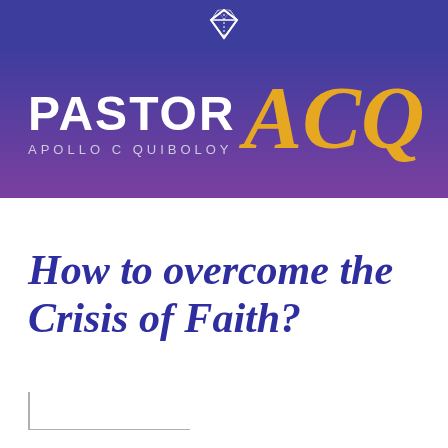[Figure (logo): Diamond/gem icon in white outline on dark blue background]
[Figure (logo): Pastor ACQ logo — PASTOR in white bold text with APOLLO C QUIBOLOY subtitle, and ACQ in large gold italic script, on purple gradient background]
How to overcome the Crisis of Faith?
[Figure (other): Decorative L-shaped line (vertical + horizontal) in light gray at bottom left]